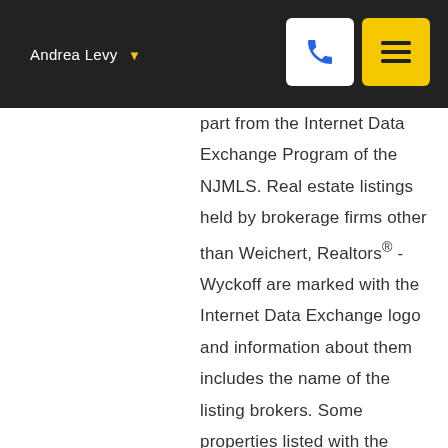Andrea Levy
part from the Internet Data Exchange Program of the NJMLS. Real estate listings held by brokerage firms other than Weichert, Realtors® - Wyckoff are marked with the Internet Data Exchange logo and information about them includes the name of the listing brokers. Some properties listed with the participating brokers do not appear on this website at the request of the seller. Listings of brokers that do not participate in Internet Data Exchange do not